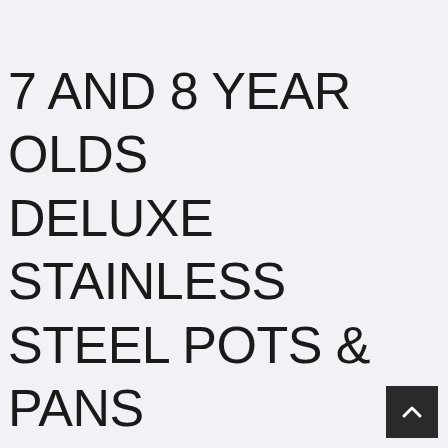7 AND 8 YEAR OLDS DELUXE STAINLESS STEEL POTS & PANS PLAY SET THE ORIGINAL KIDS TOY 4 15 PIECES 6 GREAT